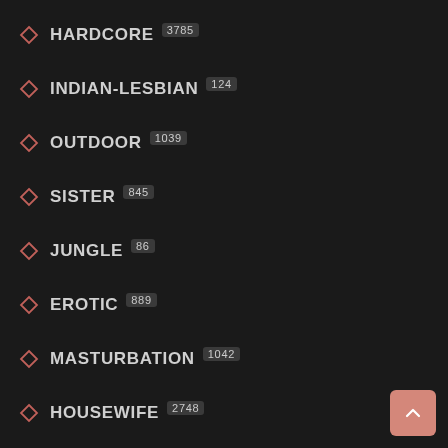HARDCORE 3785
INDIAN-LESBIAN 124
OUTDOOR 1039
SISTER 845
JUNGLE 86
EROTIC 889
MASTURBATION 1042
HOUSEWIFE 2748
LESBIAN 514